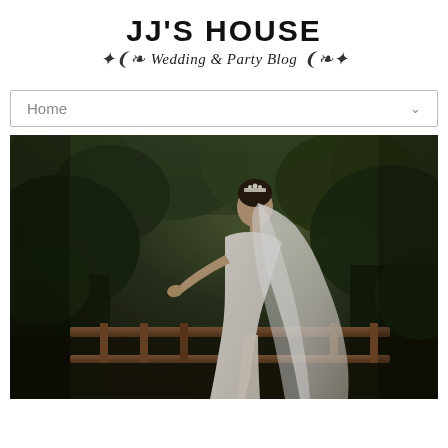JJ's House — Wedding & Party Blog
Home
[Figure (photo): A bride in a white wedding gown with a long flowing veil, standing on a wooden deck or bridge railing, viewed from the side/back. Lush green trees are in the background. The photo has a warm, slightly dark moody tone.]